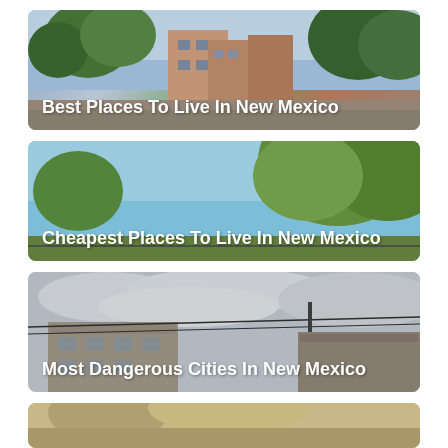[Figure (photo): Street scene with buildings and trees, card showing 'Best Places To Live In New Mexico']
Best Places To Live In New Mexico
[Figure (photo): Sky and trees scene, card showing 'Cheapest Places To Live In New Mexico']
Cheapest Places To Live In New Mexico
[Figure (photo): Overcast sky with buildings and power lines, card showing 'Most Dangerous Cities In New Mexico']
Most Dangerous Cities In New Mexico
[Figure (photo): Partial view of a fourth card at the bottom of the page]